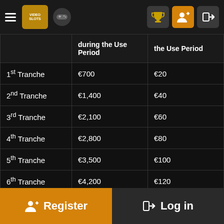Navigation bar with logo, gamepad icon, and user icons
|  | during the Use Period | the Use Period |
| --- | --- | --- |
| 1st Tranche | €700 | €20 |
| 2nd Tranche | €1,400 | €40 |
| 3rd Tranche | €2,100 | €60 |
| 4th Tranche | €2,800 | €80 |
| 5th Tranche | €3,500 | €100 |
| 6th Tranche | €4,200 | €120 |
| 7th Tranche | €4,900 | €140 |
| 8th Tranche | €5,600 | €160 |
Register | Log in